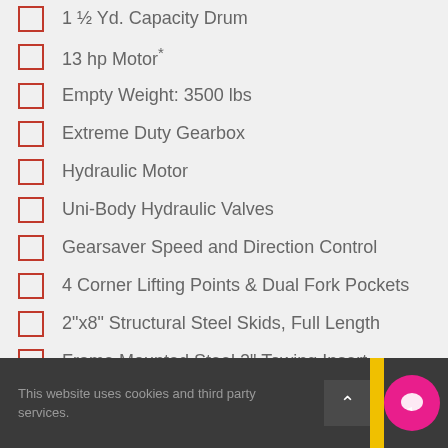1 ½ Yd. Capacity Drum
13 hp Motor*
Empty Weight: 3500 lbs
Extreme Duty Gearbox
Hydraulic Motor
Uni-Body Hydraulic Valves
Gearsaver Speed and Direction Control
4 Corner Lifting Points & Dual Fork Pockets
2"x8" Structural Steel Skids, Full Length
Frame Mounted Steel 2" Towing Insert
This website uses cookies and third party services.